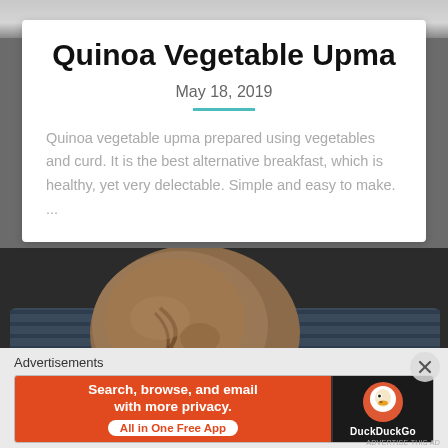[Figure (photo): Top strip showing edge of a dish/plate photo]
Quinoa Vegetable Upma
May 18, 2019
Quinoa vegetable upma prepared using vegetables and curd. It is the best alternative breakfast, which is healthy, yet very delectable. Simple and easy to make. ...
[Figure (photo): Photo of quinoa vegetable upma shaped into round balls served on a dark tray]
Advertisements
[Figure (screenshot): DuckDuckGo advertisement banner with text: Search, browse, and email with more privacy. All in One Free App]